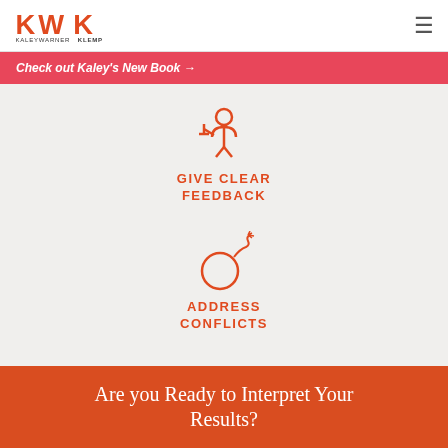[Figure (logo): KWK KaleyWarnerKlemp logo in orange and dark gray]
Check out Kaley's New Book →
[Figure (illustration): Orange icon of a person presenting/giving feedback]
GIVE CLEAR FEEDBACK
[Figure (illustration): Orange icon of a bomb with fuse]
ADDRESS CONFLICTS
Are you Ready to Interpret Your Results?